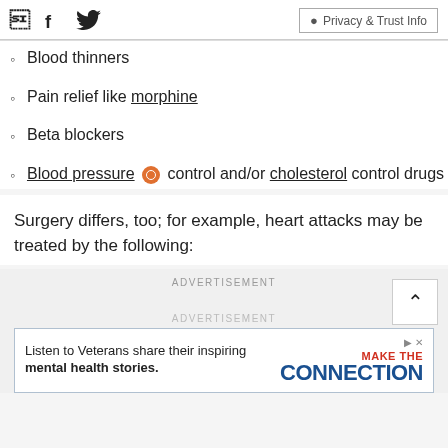Facebook | Twitter | Privacy & Trust Info
Blood thinners
Pain relief like morphine
Beta blockers
Blood pressure control and/or cholesterol control drugs
Surgery differs, too; for example, heart attacks may be treated by the following:
ADVERTISEMENT
ADVERTISEMENT
[Figure (other): Advertisement banner: Listen to Veterans share their inspiring mental health stories. Make the Connection.]